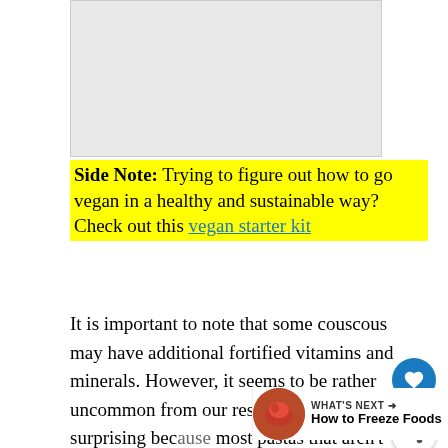[Figure (photo): Placeholder image area at top of page]
Side Note: Trying to figure out how to go vegan in a healthy and sustainable way? Check out this vegan starter kit
It is important to note that some couscous may have additional fortified vitamins and minerals. However, it seems to be rather uncommon from our research. This was surprising because most pastas that aren't whole grain do get additional fortification.